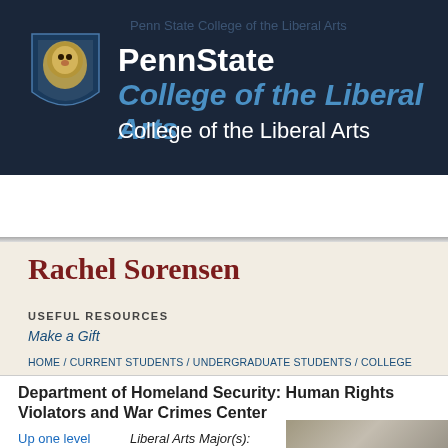[Figure (logo): Penn State College of the Liberal Arts website header with Penn State lion shield logo, PennState wordmark in white, College of the Liberal Arts in blue italic and white]
Penn State College of the Liberal Arts
Search  Menu
Rachel Sorensen
USEFUL RESOURCES
Make a Gift
HOME / CURRENT STUDENTS / UNDERGRADUATE STUDENTS / COLLEGE OFFICES / CAREER ENRICHMENT NETWORK / STUDENT PROFILES / STUDENT PROFILES FOLDER / RACHEL SORENSEN
Department of Homeland Security: Human Rights Violators and War Crimes Center
Up one level
Liberal Arts Major(s):
[Figure (photo): Partial photo thumbnail, greyed out, bottom-right corner of page]